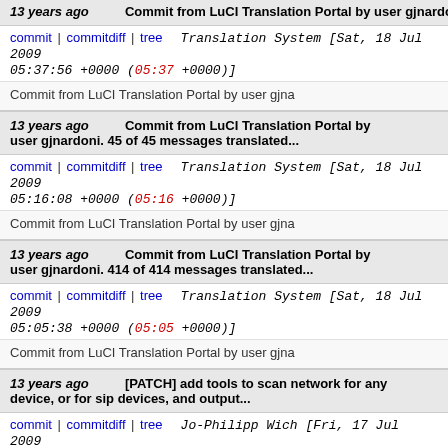13 years ago — Commit from LuCI Translation Portal by user gjnardoni. 104 of 104 messages translated...
commit | commitdiff | tree   Translation System [Sat, 18 Jul 2009 05:37:56 +0000 (05:37 +0000)]
Commit from LuCI Translation Portal by user gjna...
13 years ago — Commit from LuCI Translation Portal by user gjnardoni. 45 of 45 messages translated...
commit | commitdiff | tree   Translation System [Sat, 18 Jul 2009 05:16:08 +0000 (05:16 +0000)]
Commit from LuCI Translation Portal by user gjna...
13 years ago — Commit from LuCI Translation Portal by user gjnardoni. 414 of 414 messages translated...
commit | commitdiff | tree   Translation System [Sat, 18 Jul 2009 05:05:38 +0000 (05:05 +0000)]
Commit from LuCI Translation Portal by user gjna...
13 years ago — [PATCH] add tools to scan network for any device, or for sip devices, and output...
commit | commitdiff | tree   Jo-Philipp Wich [Fri, 17 Jul 2009 20:27:05 +0000 (20:27 +0000)]